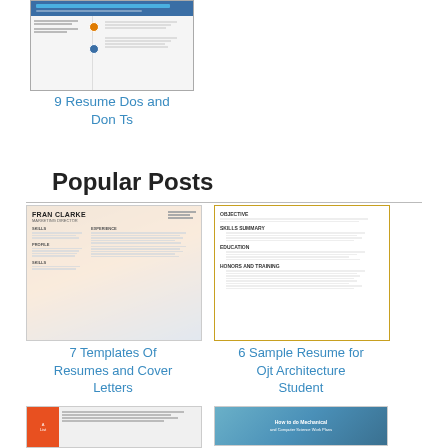[Figure (screenshot): Thumbnail image of a resume dos and don'ts guide with blue background and diagram]
9 Resume Dos and Don Ts
Popular Posts
[Figure (screenshot): Thumbnail of a resume template for Fran Clarke, Marketing Director, with warm sunset background]
7 Templates Of Resumes and Cover Letters
[Figure (screenshot): Thumbnail of a sample resume for OJT Architecture Student with yellow border]
6 Sample Resume for Ojt Architecture Student
[Figure (screenshot): Thumbnail of an orange and grey resume checklist]
[Figure (screenshot): Thumbnail of a blue cover letter or resume template]